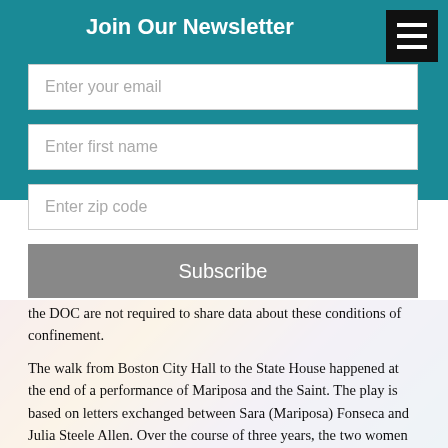Join Our Newsletter
[Figure (screenshot): Email newsletter signup form with fields for email, first name, zip code, and a Subscribe button on a teal background]
the DOC are not required to share data about these conditions of confinement.
The walk from Boston City Hall to the State House happened at the end of a performance of Mariposa and the Saint. The play is based on letters exchanged between Sara (Mariposa) Fonseca and Julia Steele Allen. Over the course of three years, the two women created the play as Mariposa wrote her letters from a solitary